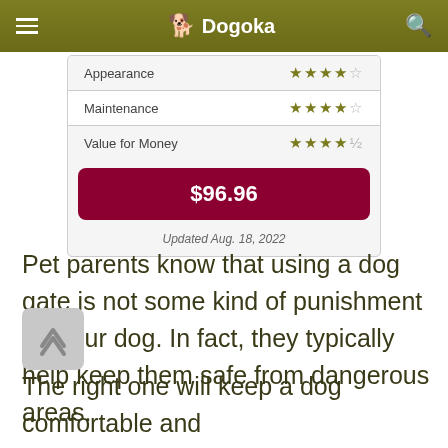Dogoka
| Category | Rating |
| --- | --- |
| Appearance | 4/5 stars |
| Maintenance | 4/5 stars |
| Value for Money | 4.5/5 stars |
$96.96
Updated Aug. 18, 2022
Pet parents know that using a dog gate is not some kind of punishment for your dog. In fact, they typically help keep them safe from dangerous areas.
The right one will keep a dog comfortable and